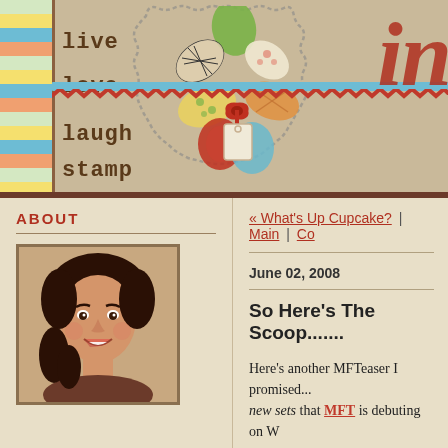[Figure (illustration): Blog header banner with linen/burlap background, decorative fabric flower/angel with colorful petals and tag, text 'live love laugh stamp', red and blue ric-rac ribbons, striped sidebar, partial text 'in' and 'k' in red on right]
ABOUT
[Figure (photo): Photo of a woman with curly dark brown hair, wearing a brown top, smiling, photographed against a light background]
« What's Up Cupcake? | Main | Co
June 02, 2008
So Here's The Scoop.......
Here's another MFTeaser I promised... new sets that MFT is debuting on W